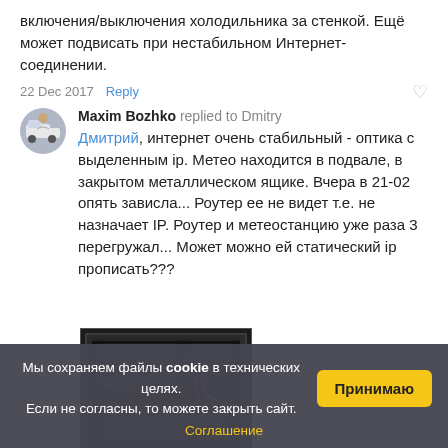включения/выключения холодильника за стенкой. Ещё может подвисать при нестабильном Интернет-соединении.
22 Dec 2017  Reply
Maxim Bozhko replied to Dmitry
Дмитрий, интернет очень стабильный - оптика с выделенным ip. Метео находится в подвале, в закрытом металлическом ящике. Вчера в 21-02 опять зависла... Роутер ее не видет т.е. не назначает IP. Роутер и метеостанцию уже раза 3 перегружал... Может можно ей статический ip прописать???
[Figure (photo): Photo of an open metal electrical enclosure/box with electronic equipment inside, dark interior]
Мы сохраняем файлы cookie в технических целях. Если не согласны, то можете закрыть сайт.
Соглашение